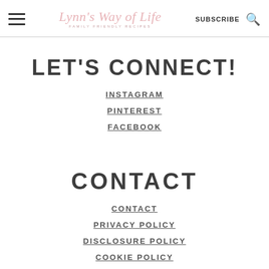Lynn's Way of Life — FAMILY FRIENDLY RECIPES — SUBSCRIBE
LET'S CONNECT!
INSTAGRAM
PINTEREST
FACEBOOK
CONTACT
CONTACT
PRIVACY POLICY
DISCLOSURE POLICY
COOKIE POLICY